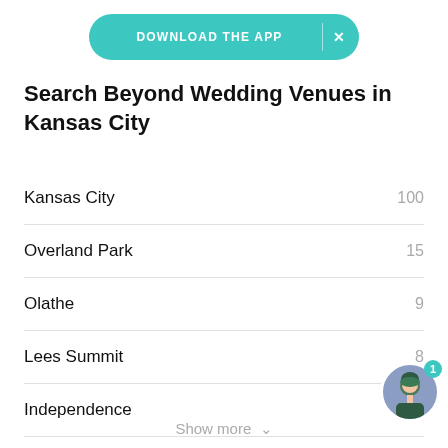[Figure (screenshot): Teal rounded-pill button reading 'DOWNLOAD THE APP' with an X close button on the right]
Search Beyond Wedding Venues in Kansas City
Kansas City    100
Overland Park    15
Olathe    9
Lees Summit    8
Independence    8
Blue Springs
Show more ∨